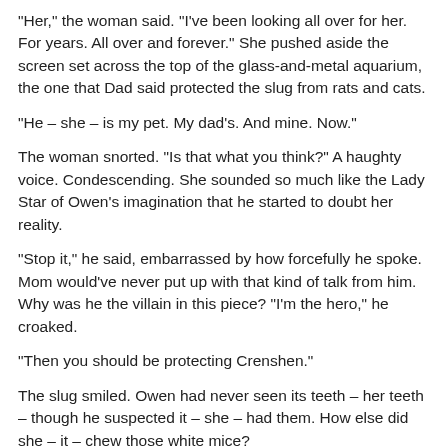"Her," the woman said. "I've been looking all over for her. For years. All over and forever." She pushed aside the screen set across the top of the glass-and-metal aquarium, the one that Dad said protected the slug from rats and cats.
"He – she – is my pet. My dad's. And mine. Now."
The woman snorted. "Is that what you think?" A haughty voice. Condescending. She sounded so much like the Lady Star of Owen's imagination that he started to doubt her reality.
"Stop it," he said, embarrassed by how forcefully he spoke. Mom would've never put up with that kind of talk from him. Why was he the villain in this piece? "I'm the hero," he croaked.
"Then you should be protecting Crenshen."
The slug smiled. Owen had never seen its teeth – her teeth – though he suspected it – she – had them. How else did she – it – chew those white mice?